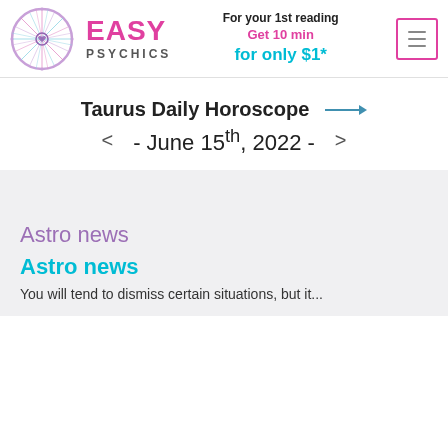[Figure (logo): Easy Psychics logo with circular mandala/wheel design and pink EASY PSYCHICS text]
For your 1st reading
Get 10 min
for only $1*
Taurus Daily Horoscope
- June 15th, 2022 -
Astro news
Astro news
You will tend to dismiss certain situations, but it...